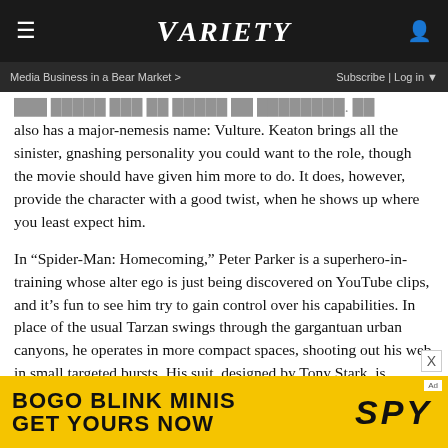VARIETY
Media Business in a Bear Market >   Subscribe | Log in
also has a major-nemesis name: Vulture. Keaton brings all the sinister, gnashing personality you could want to the role, though the movie should have given him more to do. It does, however, provide the character with a good twist, when he shows up where you least expect him.
In “Spider-Man: Homecoming,” Peter Parker is a superhero-in-training whose alter ego is just being discovered on YouTube clips, and it’s fun to see him try to gain control over his capabilities. In place of the usual Tarzan swings through the gargantuan urban canyons, he operates in more compact spaces, shooting out his web in small targeted bursts. His suit, designed by Tony Stark, is equipped with gimmicks he’s just learning about. Yet the way the movie deals with all thi
[Figure (screenshot): Advertisement banner: BOGO BLINK MINIS GET YOURS NOW with SPY logo on yellow background]